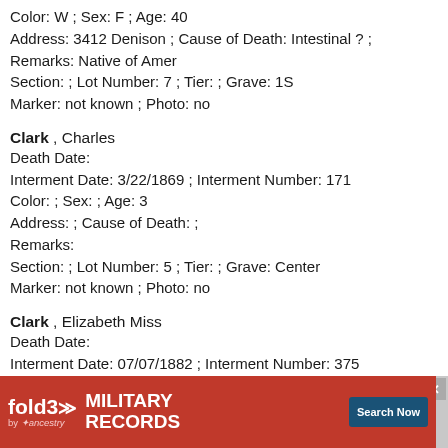Color: W ; Sex: F ; Age: 40
Address: 3412 Denison ; Cause of Death: Intestinal ? ;
Remarks: Native of Amer
Section: ; Lot Number: 7 ; Tier: ; Grave: 1S
Marker: not known ; Photo: no
Clark , Charles
Death Date:
Interment Date: 3/22/1869 ; Interment Number: 171
Color: ; Sex: ; Age: 3
Address: ; Cause of Death: ;
Remarks:
Section: ; Lot Number: 5 ; Tier: ; Grave: Center
Marker: not known ; Photo: no
Clark , Elizabeth Miss
Death Date:
Interment Date: 07/07/1882 ; Interment Number: 375
Color: ; Sex: ; Age: --
Address: ; Cause of Death: ;
Remarks:
Section: ; Lot Number: 16 ; Tier: ; Grave: --
Marker: not known ; Photo: no
Clark , E...
Death Da...
Intermen...
[Figure (screenshot): Advertisement banner for fold3 Military Records by Ancestry with Search Now button]